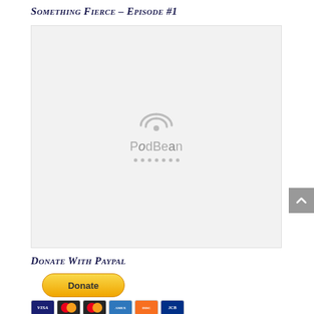Something Fierce – Episode #1
[Figure (other): PodBean podcast player embed placeholder showing the PodBean logo and loading dots on a light gray background]
Donate With Paypal
[Figure (other): Yellow PayPal Donate button with rounded corners]
[Figure (other): Payment method icons: Visa, Mastercard (x2), American Express, Discover, JCB]